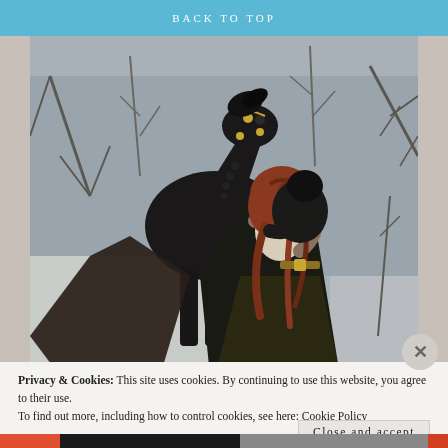BACK TO TOP
[Figure (photo): A couple embracing outdoors in winter, with a black horse wearing an ornate bridle behind them. The woman has long red/auburn curly hair and wears a dark cloak. Bare trees and snow visible in background.]
Privacy & Cookies: This site uses cookies. By continuing to use this website, you agree to their use.
To find out more, including how to control cookies, see here: Cookie Policy
Close and accept